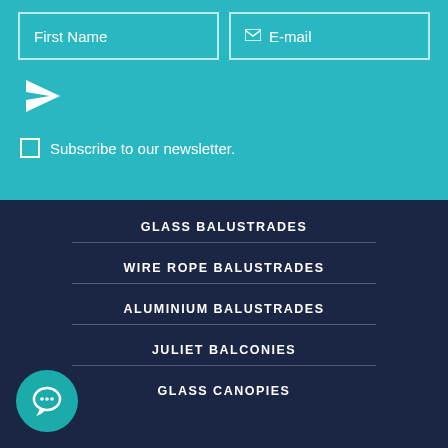[Figure (screenshot): Teal subscription form section with First Name input field and E-mail input field with envelope icon, a send paper airplane button, and a Subscribe to our newsletter checkbox]
Subscribe to our newsletter.
GLASS BALUSTRADES
WIRE ROPE BALUSTRADES
ALUMINIUM BALUSTRADES
JULIET BALCONIES
GLASS CANOPIES